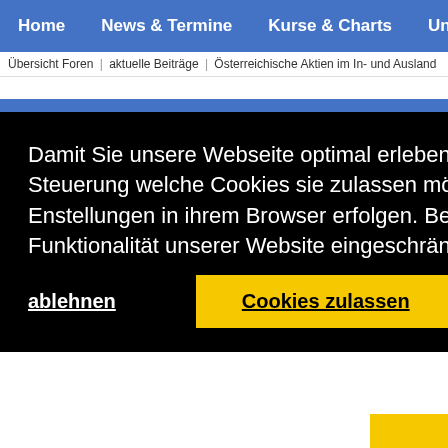Home | News & Termine | Kurse & Charts | Unte
Übersicht Foren | aktuelle Beiträge | Österreichische Aktien im In- und Ausland
Home   News & Termine   Kurse & Charts
Damit Sie unsere Webseite optimal erleben können, werden Cookies eingesetzt. Die Steuerung welche Cookies sie zulassen möchten, kann über die Cookie Enstellungen in ihrem Browser erfolgen. Bei der Deaktivierung von Cookies kann die Funktionalität unserer Website eingeschränkt sein.  Learn more
ablehnen
Cookies zulassen